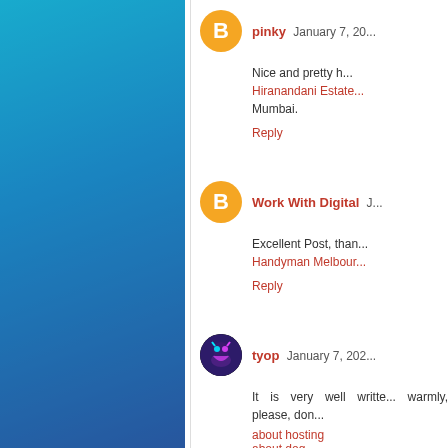[Figure (photo): Blue teal abstract underwater/textured background panel on the left side of the page]
pinky January 7, 20...
Nice and pretty h... Hiranandani Estate... Mumbai.
Reply
Work With Digital J...
Excellent Post, than... Handyman Melbour...
Reply
tyop January 7, 202...
It is very well writte... warmly, please, don... about hosting about dog
Reply